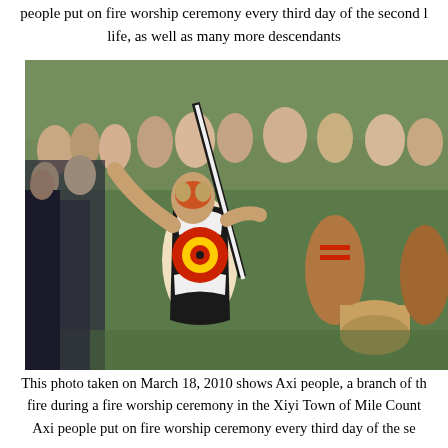people put on fire worship ceremony every third day of the second l... life, as well as many more descendants...
[Figure (photo): A crowd of Axi people in traditional body paint and costumes participating in a fire worship ceremony, with a prominent dancer in black-white-red-yellow circular painted body art holding a long stick.]
This photo taken on March 18, 2010 shows Axi people, a branch of th... fire during a fire worship ceremony in the Xiyi Town of Mile Count... Axi people put on fire worship ceremony every third day of the se...